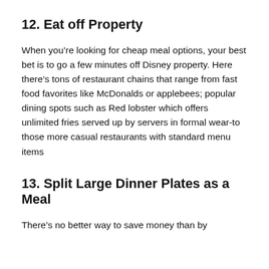12. Eat off Property
When you’re looking for cheap meal options, your best bet is to go a few minutes off Disney property. Here there’s tons of restaurant chains that range from fast food favorites like McDonalds or applebees; popular dining spots such as Red lobster which offers unlimited fries served up by servers in formal wear-to those more casual restaurants with standard menu items
13. Split Large Dinner Plates as a Meal
There’s no better way to save money than by